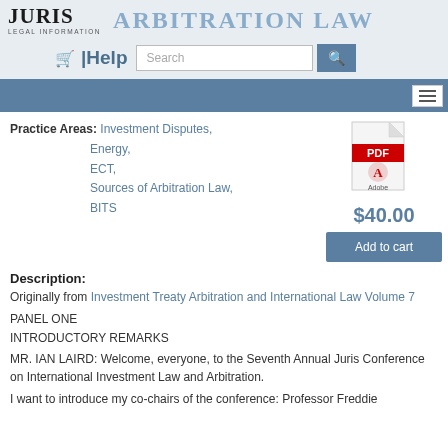JURIS LEGAL INFORMATION — Arbitration Law
Practice Areas: Investment Disputes, Energy, ECT, Sources of Arbitration Law, BITS
[Figure (illustration): Adobe PDF file icon]
$40.00
Add to cart
Description:
Originally from Investment Treaty Arbitration and International Law Volume 7
PANEL ONE
INTRODUCTORY REMARKS
MR. IAN LAIRD: Welcome, everyone, to the Seventh Annual Juris Conference on International Investment Law and Arbitration.
I want to introduce my co-chairs of the conference: Professor Freddie